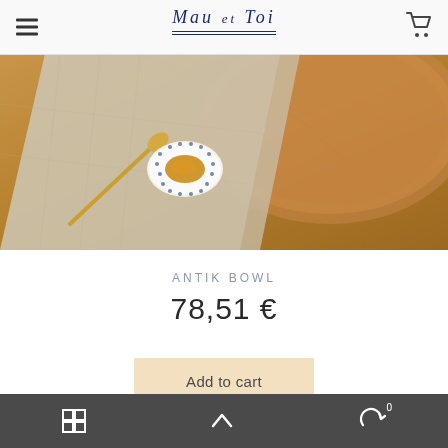Mau et Toi
[Figure (photo): Product photo showing a small decorative ceramic bowl with blue dot pattern containing honey, placed on a linen napkin with a gold spoon, on a wooden surface with a round wooden board]
ANTIK BOWL
78,51 €
Add to cart
Bottom navigation bar with grid icon, up arrow, and cart/refresh icon